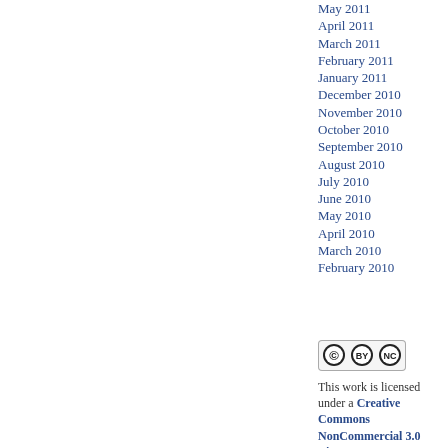May 2011
April 2011
March 2011
February 2011
January 2011
December 2010
November 2010
October 2010
September 2010
August 2010
July 2010
June 2010
May 2010
April 2010
March 2010
February 2010
[Figure (logo): Creative Commons BY-NC license badge]
This work is licensed under a Creative Commons NonCommercial 3.0 License.